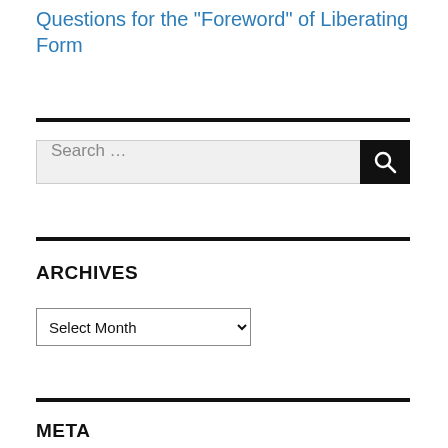Questions for the "Foreword" of Liberating Form
[Figure (other): Horizontal black divider line]
[Figure (other): Search bar with text input labeled 'Search ...' and a black search button with magnifier icon]
[Figure (other): Horizontal black divider line]
ARCHIVES
[Figure (other): Dropdown select element labeled 'Select Month']
[Figure (other): Horizontal black divider line]
META